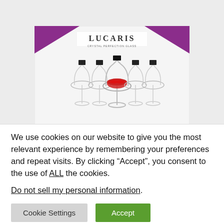[Figure (photo): Lucaris branded product box showing wine glasses with a red lip mark on the center glass, with purple corner accents and the Lucaris logo at the top]
We use cookies on our website to give you the most relevant experience by remembering your preferences and repeat visits. By clicking “Accept”, you consent to the use of ALL the cookies.
Do not sell my personal information.
Cookie Settings
Accept